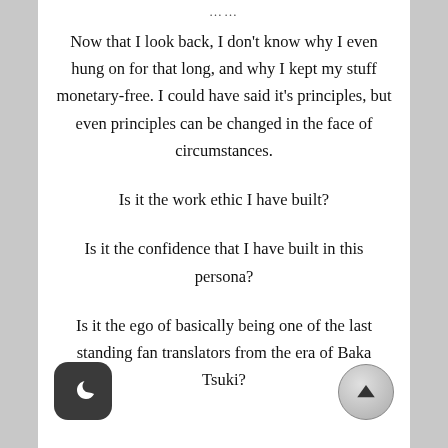……
Now that I look back, I don't know why I even hung on for that long, and why I kept my stuff monetary-free. I could have said it's principles, but even principles can be changed in the face of circumstances.
Is it the work ethic I have built?
Is it the confidence that I have built in this persona?
Is it the ego of basically being one of the last standing fan translators from the era of Baka Tsuki?